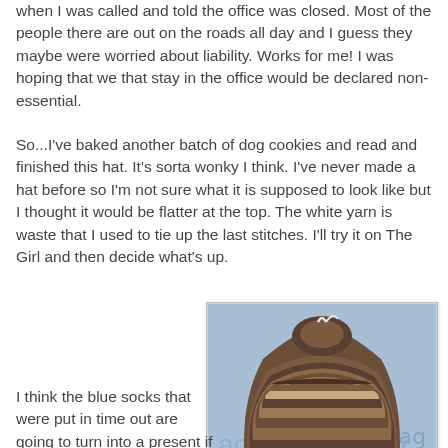when I was called and told the office was closed. Most of the people there are out on the roads all day and I guess they maybe were worried about liability. Works for me! I was hoping that we that stay in the office would be declared non-essential.
So...I've baked another batch of dog cookies and read and finished this hat. It's sorta wonky I think. I've never made a hat before so I'm not sure what it is supposed to look like but I thought it would be flatter at the top. The white yarn is waste that I used to tie up the last stitches. I'll try it on The Girl and then decide what's up.
[Figure (photo): A hand-knitted striped hat in brown, tan, and cream tones, laid flat on a blue surface with text visible underneath. The hat appears somewhat bunched at the top with a white yarn tie.]
I think the blue socks that were put in time out are going to turn into a present if I can get them finished. Now I have to remember where their time out is. I think they are in the cedar chest. It's not really lunch time yet, but I'm hungry and I've made some potato soup and I think it's going